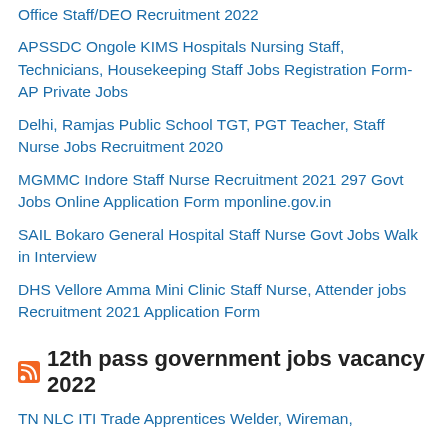Office Staff/DEO Recruitment 2022
APSSDC Ongole KIMS Hospitals Nursing Staff, Technicians, Housekeeping Staff Jobs Registration Form- AP Private Jobs
Delhi, Ramjas Public School TGT, PGT Teacher, Staff Nurse Jobs Recruitment 2020
MGMMC Indore Staff Nurse Recruitment 2021 297 Govt Jobs Online Application Form mponline.gov.in
SAIL Bokaro General Hospital Staff Nurse Govt Jobs Walk in Interview
DHS Vellore Amma Mini Clinic Staff Nurse, Attender jobs Recruitment 2021 Application Form
12th pass government jobs vacancy 2022
TN NLC ITI Trade Apprentices Welder, Wireman,